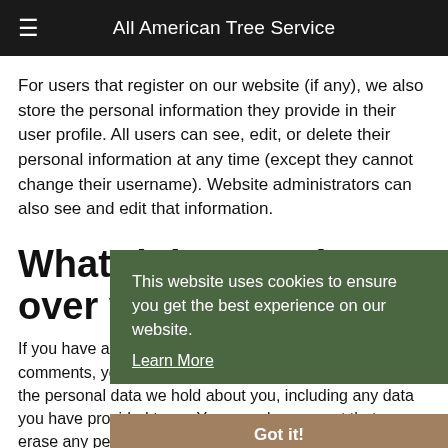All American Tree Service
For users that register on our website (if any), we also store the personal information they provide in their user profile. All users can see, edit, or delete their personal information at any time (except they cannot change their username). Website administrators can also see and edit that information.
What rights you have over your data
If you have an account on this site, or have left comments, you can request to receive an exported file of the personal data we hold about you, including any data you have provided to us. You can also request that we erase any personal data we hold about you. This does not include any
This website uses cookies to ensure you get the best experience on our website.
Learn More
Got it!